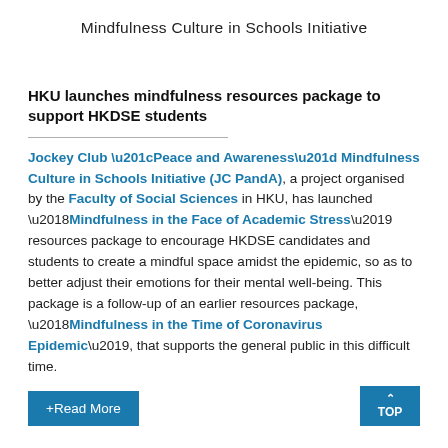Mindfulness Culture in Schools Initiative
HKU launches mindfulness resources package to support HKDSE students
Jockey Club “Peace and Awareness” Mindfulness Culture in Schools Initiative (JC PandA), a project organised by the Faculty of Social Sciences in HKU, has launched ‘Mindfulness in the Face of Academic Stress’ resources package to encourage HKDSE candidates and students to create a mindful space amidst the epidemic, so as to better adjust their emotions for their mental well-being. This package is a follow-up of an earlier resources package, ‘Mindfulness in the Time of Coronavirus Epidemic’, that supports the general public in this difficult time.
+Read More
TOP